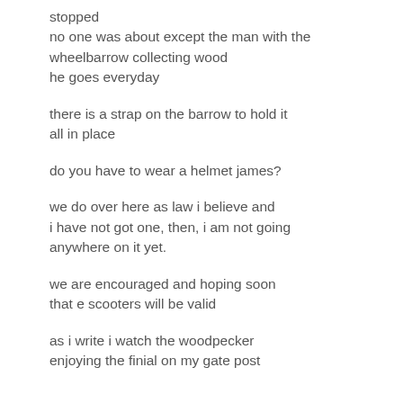stopped
no one was about except the man with the
wheelbarrow collecting wood
he goes everyday
there is a strap on the barrow to hold it
all in place
do you have to wear a helmet james?
we do over here as law i believe and
i have not got one, then, i am not going
anywhere on it yet.
we are encouraged and hoping soon
that e scooters will be valid
as i write i watch the woodpecker
enjoying the finial on my gate post